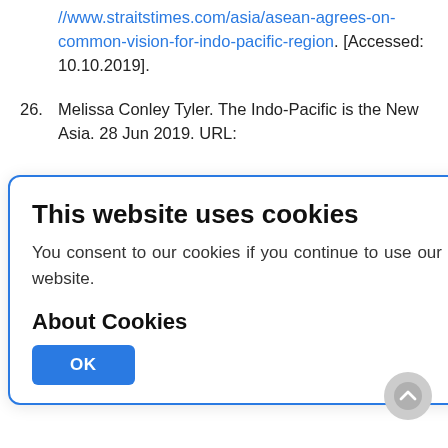//www.straitstimes.com/asia/asean-agrees-on-common-vision-for-indo-pacific-region. [Accessed: 10.10.2019].
26. Melissa Conley Tyler. The Indo-Pacific is the New Asia. 28 Jun 2019. URL:
This website uses cookies
You consent to our cookies if you continue to use our website.
About Cookies
OK
28. "Asean Outlook On The Indo-Pacific". URL: https://www.asean2019.go.th/en/news/ asean-outlook-on-the-indo-pacific/.